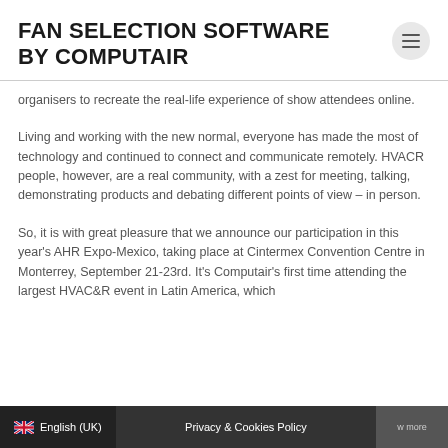FAN SELECTION SOFTWARE BY COMPUTAIR
organisers to recreate the real-life experience of show attendees online.
Living and working with the new normal, everyone has made the most of technology and continued to connect and communicate remotely. HVACR people, however, are a real community, with a zest for meeting, talking, demonstrating products and debating different points of view – in person.
So, it is with great pleasure that we announce our participation in this year's AHR Expo-Mexico, taking place at Cintermex Convention Centre in Monterrey, September 21-23rd. It's Computair's first time attending the largest HVAC&R event in Latin America, which
English (UK)   Privacy & Cookies Policy